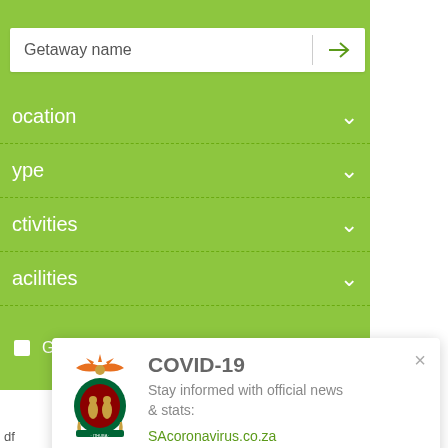[Figure (screenshot): Green search/filter panel for a travel getaway search interface showing a search field with 'Getaway name' placeholder, and dropdown filters for Location, Type, Activities, Facilities, and a 'Getaways with Specials' checkbox.]
[Figure (infographic): COVID-19 notification popup with South African government coat of arms logo, title 'COVID-19', text 'Stay informed with official news & stats:', and link 'SAcoronavirus.co.za', with an X close button.]